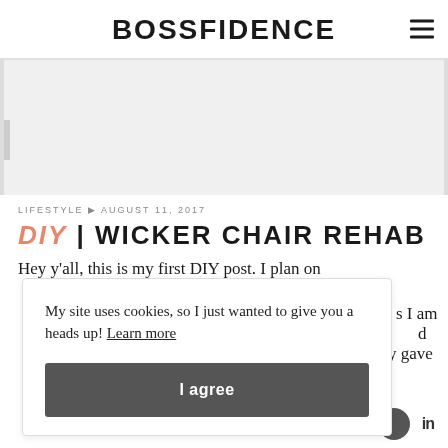BOSSFIDENCE
[Figure (photo): Placeholder image area for blog post header photo]
LIFESTYLE ▶ AUGUST 11, 2017
DIY | WICKER CHAIR REHAB
Hey y'all, this is my first DIY post. I plan on
My site uses cookies, so I just wanted to give you a heads up! Learn more
I agree